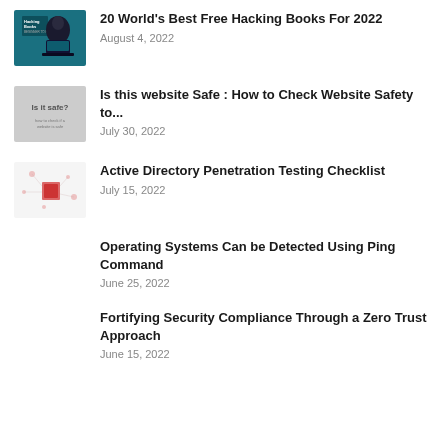[Figure (illustration): Hacking Books thumbnail with dark teal background and hooded figure at laptop]
20 World's Best Free Hacking Books For 2022
August 4, 2022
[Figure (illustration): Is it safe? website safety check thumbnail with gray background and text]
Is this website Safe : How to Check Website Safety to...
July 30, 2022
[Figure (illustration): Active Directory Penetration Testing Checklist thumbnail with light background and red element]
Active Directory Penetration Testing Checklist
July 15, 2022
Operating Systems Can be Detected Using Ping Command
June 25, 2022
Fortifying Security Compliance Through a Zero Trust Approach
June 15, 2022